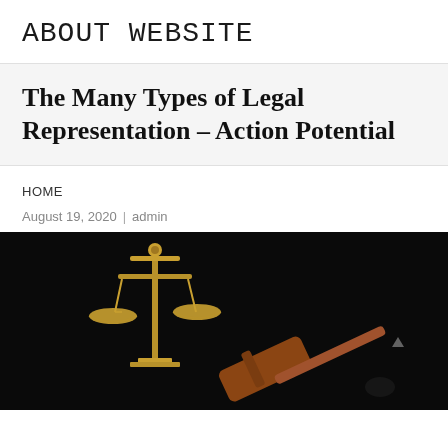ABOUT WEBSITE
The Many Types of Legal Representation – Action Potential
HOME
August 19, 2020 | admin
[Figure (photo): Gold scales of justice and a wooden gavel on a dark black background, symbolizing law and legal representation]